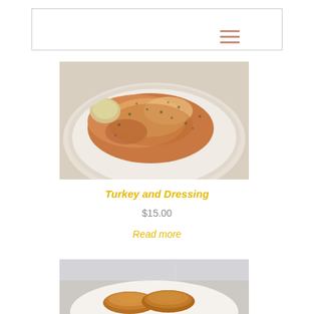[Figure (screenshot): Navigation bar with hamburger menu icon on the right side]
[Figure (photo): Turkey and dressing dish on a white plate, viewed from above, with herbs sprinkled on top]
Turkey and Dressing
$15.00
Read more
[Figure (photo): Partial view of a second food dish, appears to show pancakes or similar round golden-brown food on a white plate]